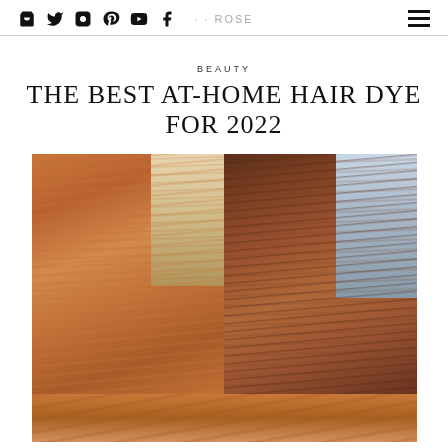Social media icons (bag, twitter, instagram, pinterest, youtube, facebook), site name, hamburger menu
BEAUTY
THE BEST AT-HOME HAIR DYE FOR 2022
[Figure (photo): Before and after split photo of a woman's hair dyed with at-home hair dye. Left side shows lighter auburn/copper hair, right side shows darker auburn hair after dyeing.]